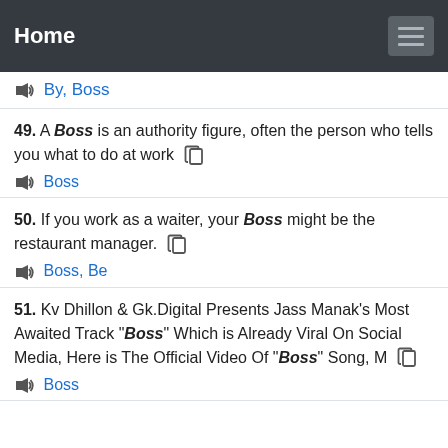Home
By, Boss
49. A Boss is an authority figure, often the person who tells you what to do at work
Boss
50. If you work as a waiter, your Boss might be the restaurant manager.
Boss, Be
51. Kv Dhillon & Gk.Digital Presents Jass Manak's Most Awaited Track "Boss" Which is Already Viral On Social Media, Here is The Official Video Of "Boss" Song, M
Boss